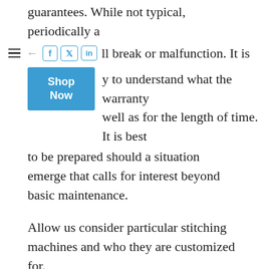guarantees. While not typical, periodically a sewing machine will break or malfunction. It is necessary to understand what the warranty covers as well as for the length of time. It is best to be prepared should a situation emerge that calls for interest beyond basic maintenance.
Allow us consider particular stitching machines and who they are customized for.
Top Seven Machines for Sewing Review
Let us take a look at particular stitching devices as well as who they are tailored for.